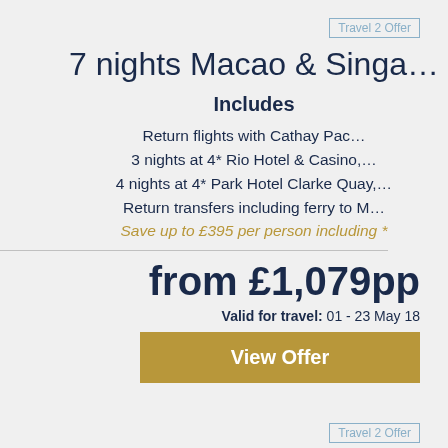[Figure (logo): Travel 2 Offer logo]
7 nights Macao & Singa…
Includes
Return flights with Cathay Pac…
3 nights at 4* Rio Hotel & Casino,…
4 nights at 4* Park Hotel Clarke Quay,…
Return transfers including ferry to M…
Save up to £395 per person including *
from £1,079pp
Valid for travel: 01 - 23 May 18
View Offer
[Figure (logo): Travel 2 Offer logo]
10 nights Macao & F…